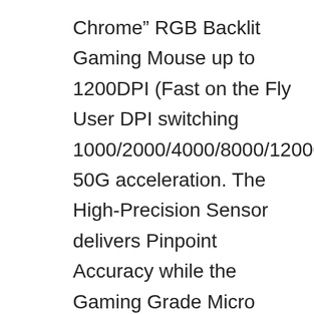Chrome” RGB Backlit Gaming Mouse up to 1200DPI (Fast on the Fly User DPI switching 1000/2000/4000/8000/12000) 50G acceleration. The High-Precision Sensor delivers Pinpoint Accuracy while the Gaming Grade Micro Switches have a rated Lifetime of 20 Million Clicks to ensure longevity, greater durability and extreme responsiveness, giving you an even greater edge over your competition
RGB BACKLIGHT MMO MACROS